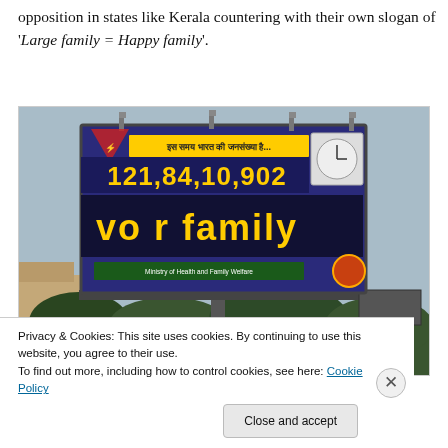opposition in states like Kerala countering with their own slogan of 'Large family = Happy family'.
[Figure (photo): A large electronic billboard in India displaying population counter reading 121,84,10,902 with Hindi text and 'your family' message in yellow LED letters, mounted on a pole above a building and trees. Billboard is from Ministry of Health and Family Welfare.]
Privacy & Cookies: This site uses cookies. By continuing to use this website, you agree to their use.
To find out more, including how to control cookies, see here: Cookie Policy